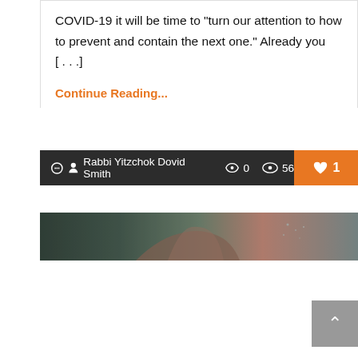COVID-19 it will be time to “turn our attention to how to prevent and contain the next one.” Already you […]
Continue Reading...
Rabbi Yitzchok Dovid Smith  0  56  1
[Figure (photo): A dark photograph showing a hand pressed against a surface with water droplets, used as article thumbnail.]